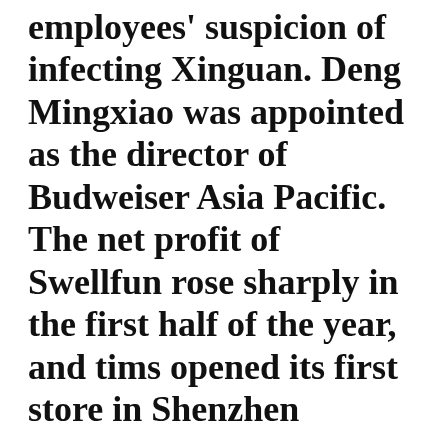employees' suspicion of infecting Xinguan. Deng Mingxiao was appointed as the director of Budweiser Asia Pacific. The net profit of Swellfun rose sharply in the first half of the year, and tims opened its first store in Shenzhen
July 25, 2021   ColinShi